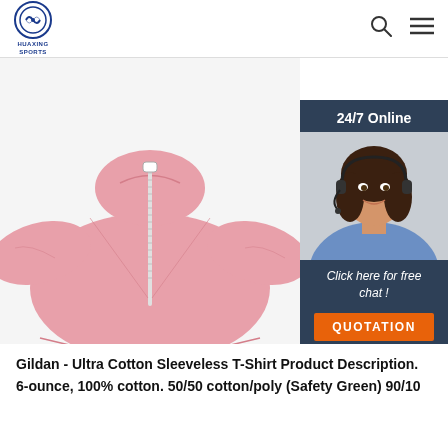HUAXING SPORTS
[Figure (photo): Pink sleeveless zip-up garment/vest laid flat on white background]
[Figure (infographic): 24/7 Online chat overlay box with woman wearing headset, text 'Click here for free chat!' and orange QUOTATION button]
[Figure (logo): TOP scroll-to-top icon with orange dots forming an arrow and red TOP text]
Gildan - Ultra Cotton Sleeveless T-Shirt Product Description. 6-ounce, 100% cotton. 50/50 cotton/poly (Safety Green) 90/10